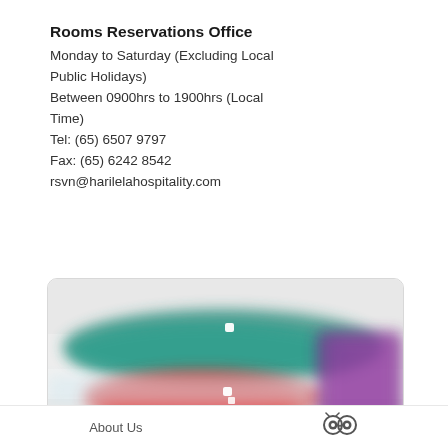Rooms Reservations Office
Monday to Saturday (Excluding Local Public Holidays)
Between 0900hrs to 1900hrs (Local Time)
Tel: (65) 6507 9797
Fax: (65) 6242 8542
rsvn@harilelahospitality.com
[Figure (map): Blurred map showing location with teal and red route highlights and purple sidebar element]
About Us